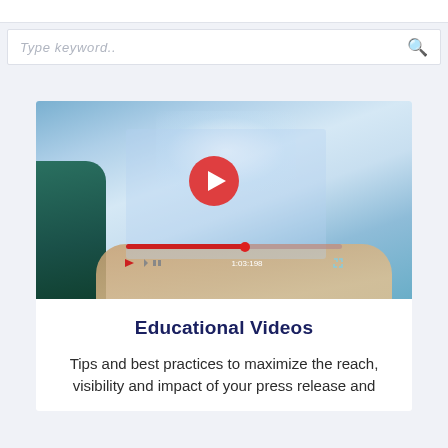Type keyword..
[Figure (screenshot): Video player thumbnail showing a person holding a tablet with a video player interface overlay, including a red play button, a red progress bar with a scrubber dot, playback controls and time display at the bottom.]
Educational Videos
Tips and best practices to maximize the reach, visibility and impact of your press release and